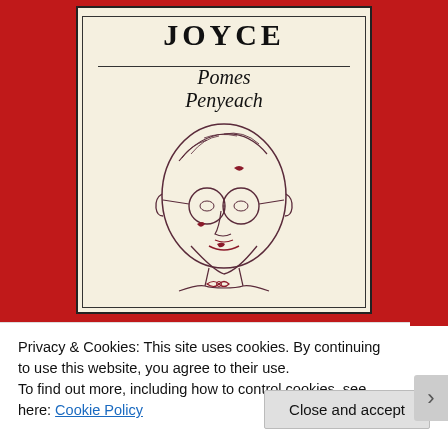[Figure (illustration): Book cover of Joyce Pomes Penyeach — red textured background with a cream/off-white central panel bordered by a thin black frame. The panel shows 'JOYCE' in bold letters at top, a horizontal rule, then italic text 'Pomes Penyeach', followed by a line-drawing illustration of a man's face wearing round glasses and a bow tie.]
Privacy & Cookies: This site uses cookies. By continuing to use this website, you agree to their use.
To find out more, including how to control cookies, see here: Cookie Policy
Close and accept